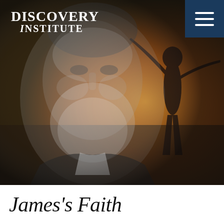[Figure (photo): Hero image showing a black and white portrait of a bearded man (William James) overlaid on a warm orange-toned background with a silhouetted figure with arms outstretched]
[Figure (logo): Discovery Institute logo in white text on the hero image, top left]
James's Faith